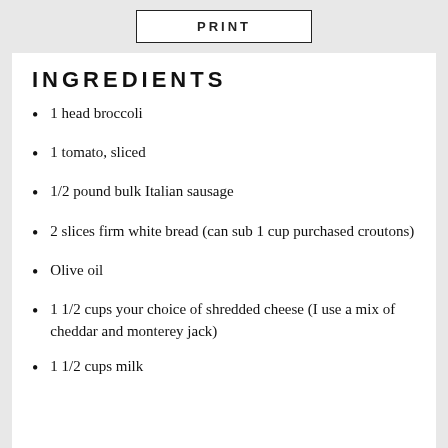PRINT
INGREDIENTS
1 head broccoli
1 tomato, sliced
1/2 pound bulk Italian sausage
2 slices firm white bread (can sub 1 cup purchased croutons)
Olive oil
1 1/2 cups your choice of shredded cheese (I use a mix of cheddar and monterey jack)
1 1/2 cups milk